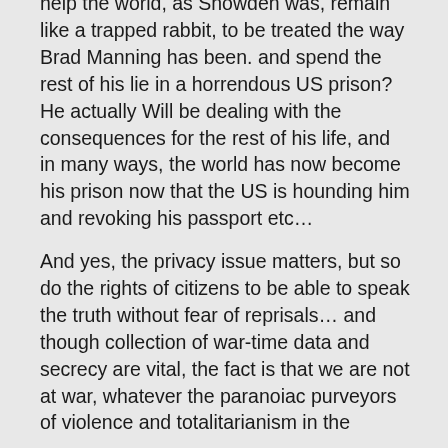help the world, as Snowden was, remain like a trapped rabbit, to be treated the way Brad Manning has been. and spend the rest of his lie in a horrendous US prison? He actually Will be dealing with the consequences for the rest of his life, and in many ways, the world has now become his prison now that the US is hounding him and revoking his passport etc…
And yes, the privacy issue matters, but so do the rights of citizens to be able to speak the truth without fear of reprisals… and though collection of war-time data and secrecy are vital, the fact is that we are not at war, whatever the paranoiac purveyors of violence and totalitarianism in the